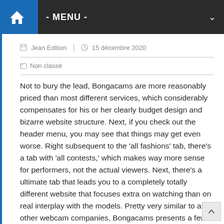- MENU -
Jean Edition  |  15 décembre 2020
Non classé
Not to bury the lead, Bongacams are more reasonably priced than most different services, which considerably compensates for his or her clearly budget design and bizarre website structure. Next, if you check out the header menu, you may see that things may get even worse. Right subsequent to the 'all fashions' tab, there's a tab with 'all contests,' which makes way more sense for performers, not the actual viewers. Next, there's a ultimate tab that leads you to a completely totally different website that focuses extra on watching than on real interplay with the models. Pretty very similar to all other webcam companies, Bongacams presents a few of its features free of charge but all the time charges for the kinkiest